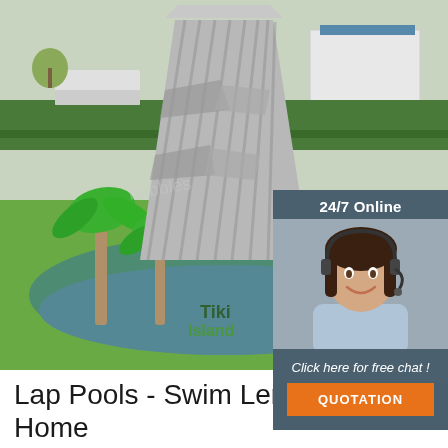[Figure (photo): Large inflatable climbing tower with tropical palm tree decorations and tiki island theming, set on green artificial grass. The inflatable structure is gray with striped texture and surrounded by a circular inflatable base with colorful designs. Background shows a green field and buildings.]
[Figure (photo): Customer service agent: smiling woman with dark hair wearing a headset, overlaid on dark blue-gray background with '24/7 Online' text and 'Click here for free chat!' call-to-action and orange QUOTATION button.]
[Figure (logo): TOP badge: orange dots arranged in a triangle above the word TOP in orange/red text on white background, bottom right corner of the main photo.]
Lap Pools - Swim Lengths at Home